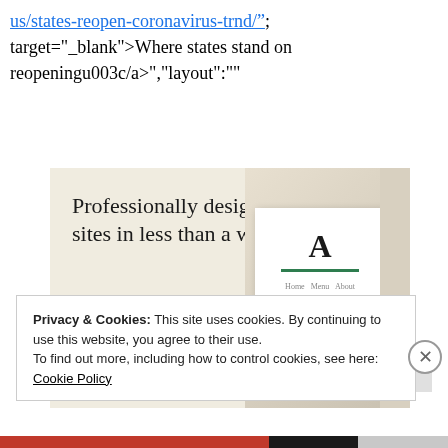us/states-reopen-coronavirus-trnd/&#8221;; target="_blank">Where states stand on reopeningu003c/a>","layout":""
[Figure (screenshot): Advertisement for a website-building service with beige background. Large serif text reads 'Professionally designed sites in less than a week'. Green button labeled 'Explore options'. Right side shows a mock website screenshot with food images and an 'A' logo card.]
Privacy & Cookies: This site uses cookies. By continuing to use this website, you agree to their use.
To find out more, including how to control cookies, see here:
Cookie Policy
Close and accept